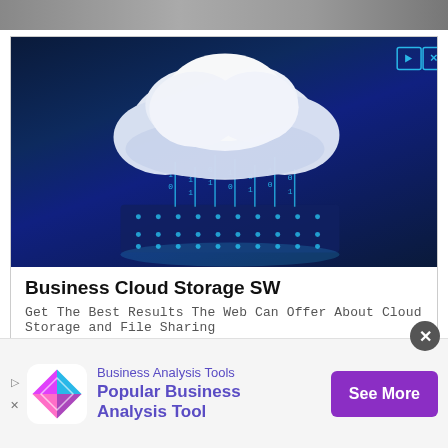[Figure (photo): Cropped top portion of an image, partially visible at the top of the page]
[Figure (photo): Advertisement banner showing a 3D cloud with binary data streaming down onto a glowing blue platform against a dark blue background. Ad icons (play and close) in top right corner.]
Business Cloud Storage SW
Get The Best Results The Web Can Offer About Cloud Storage and File Sharing
SEE MORE
Ad
[Figure (logo): Colorful diamond-shaped logo with pink, blue, and purple segments]
Business Analysis Tools
Popular Business Analysis Tool
See More